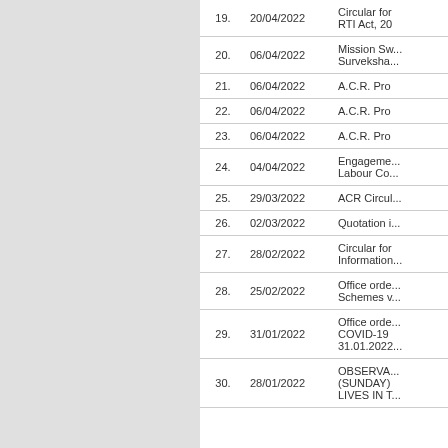| No. | Date | Description |
| --- | --- | --- |
| 19. | 20/04/2022 | Circular for RTI Act, 20... |
| 20. | 06/04/2022 | Mission Sw... Surveksha... |
| 21. | 06/04/2022 | A.C.R. Pro... |
| 22. | 06/04/2022 | A.C.R. Pro... |
| 23. | 06/04/2022 | A.C.R. Pro... |
| 24. | 04/04/2022 | Engagement... Labour Co... |
| 25. | 29/03/2022 | ACR Circul... |
| 26. | 02/03/2022 | Quotation i... |
| 27. | 28/02/2022 | Circular for Information... |
| 28. | 25/02/2022 | Office orde... Schemes v... |
| 29. | 31/01/2022 | Office orde... COVID-19 31.01.2022... |
| 30. | 28/01/2022 | OBSERVA... (SUNDAY) LIVES IN T... |